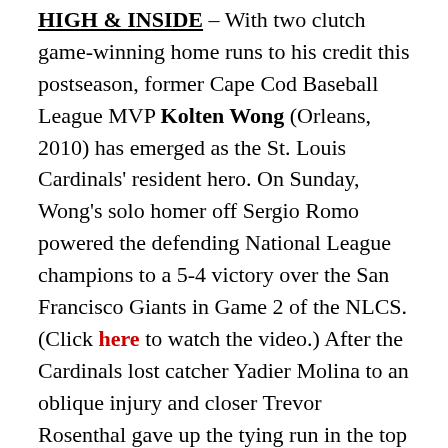HIGH & INSIDE – With two clutch game-winning home runs to his credit this postseason, former Cape Cod Baseball League MVP Kolten Wong (Orleans, 2010) has emerged as the St. Louis Cardinals' resident hero. On Sunday, Wong's solo homer off Sergio Romo powered the defending National League champions to a 5-4 victory over the San Francisco Giants in Game 2 of the NLCS. (Click here to watch the video.) After the Cardinals lost catcher Yadier Molina to an oblique injury and closer Trevor Rosenthal gave up the tying run in the top of the ninth inning, they were desperate for some magic. Wong promptly provided just that by lining the second pitch he saw over the wall in right field to even the series at one game apiece. Preserving the victory for the Cardinals was reliever Seth Maness (Bourne, 2009), who earned the win when he retired Pablo Sandoval on a comebacker with the bases loaded to end the top of